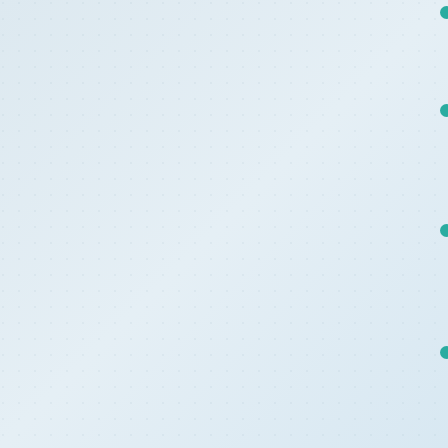High contaminant-holding capacity reduces maintenance (fewer change-outs).
Increased efficiency during service (no fiber migration or fiber breakoff).
Higher recommended final pressure drop (longer life) than conventional bag filters.
Stacking capacity up to 36,000 CFM without hardware.
UNIT PERFORMANCE
[Figure (continuous-plot): Line chart showing ASHRAE Efficiency curves for multiple filter types (HIGH FILTRA, etc.) plotted on x-axis ASHRAE EFFICIENCY scale with y-axis values from approximately 0.1 to 0.7]
ASHRAE Efficiency
SPECIFICATIONS